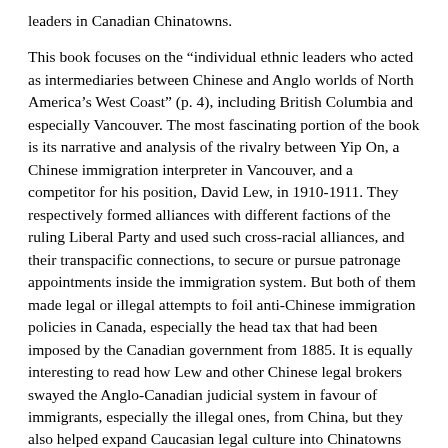leaders in Canadian Chinatowns.
This book focuses on the “individual ethnic leaders who acted as intermediaries between Chinese and Anglo worlds of North America’s West Coast” (p. 4), including British Columbia and especially Vancouver. The most fascinating portion of the book is its narrative and analysis of the rivalry between Yip On, a Chinese immigration interpreter in Vancouver, and a competitor for his position, David Lew, in 1910-1911. They respectively formed alliances with different factions of the ruling Liberal Party and used such cross-racial alliances, and their transpacific connections, to secure or pursue patronage appointments inside the immigration system. But both of them made legal or illegal attempts to foil anti-Chinese immigration policies in Canada, especially the head tax that had been imposed by the Canadian government from 1885. It is equally interesting to read how Lew and other Chinese legal brokers swayed the Anglo-Canadian judicial system in favour of immigrants, especially the illegal ones, from China, but they also helped expand Caucasian legal culture into Chinatowns through their efforts to resolve disputes inside their ethnic communities. In particular, Lew’s rivalry with Yip for the control of Nanaimo’s Chinatown even evolved into a legal battle in the Supreme Court of Canada from 1922 to 1924, when an unsolved assassination ended the colourful career of Lew.